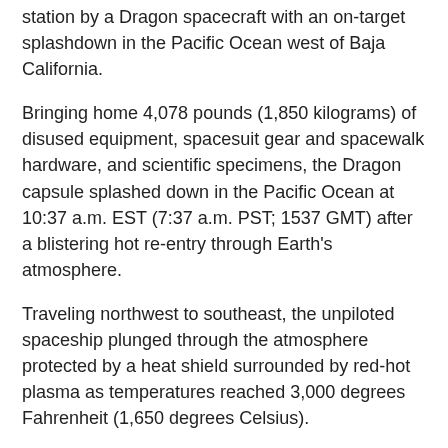station by a Dragon spacecraft with an on-target splashdown in the Pacific Ocean west of Baja California.
Bringing home 4,078 pounds (1,850 kilograms) of disused equipment, spacesuit gear and spacewalk hardware, and scientific specimens, the Dragon capsule splashed down in the Pacific Ocean at 10:37 a.m. EST (7:37 a.m. PST; 1537 GMT) after a blistering hot re-entry through Earth's atmosphere.
Traveling northwest to southeast, the unpiloted spaceship plunged through the atmosphere protected by a heat shield surrounded by red-hot plasma as temperatures reached 3,000 degrees Fahrenheit (1,650 degrees Celsius).
Two drogue parachutes deployed to stabilize the Dragon capsule for its final descent, then three 116-foot-diameter (35-meter) orange and white main parachutes unfurled to slow the spaceship for a gentle splashdown at sea, where